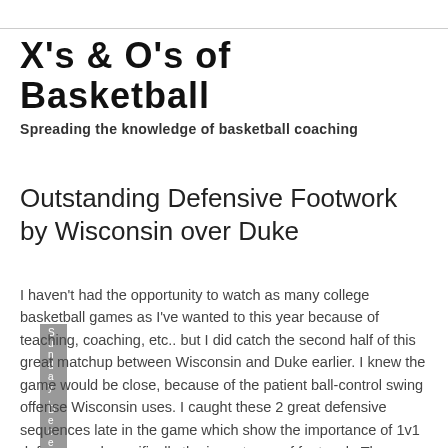X's & O's of Basketball
Spreading the knowledge of basketball coaching
Sunday, December 6, 2009
Outstanding Defensive Footwork by Wisconsin over Duke
I haven't had the opportunity to watch as many college basketball games as I've wanted to this year because of teaching, coaching, etc.. but I did catch the second half of this great matchup between Wisconsin and Duke earlier. I knew the game would be close, because of the patient ball-control swing offense Wisconsin uses. I caught these 2 great defensive sequences late in the game which show the importance of 1v1 defense, and specifically the importance of footwork. The Badgers got 2 huge stops late to seal the upset win, take a look: